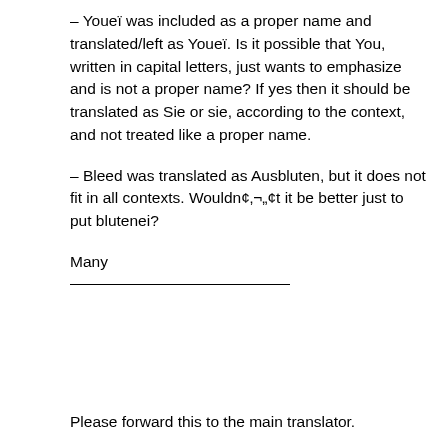– Youeï was included as a proper name and translated/left as Youeï. Is it possible that You, written in capital letters, just wants to emphasize and is not a proper name? If yes then it should be translated as Sie or sie, according to the context, and not treated like a proper name.
– Bleed was translated as Ausbluten, but it does not fit in all contexts. Wouldn¢‚¬„¢t it be better just to put blutenei?
Many
Please forward this to the main translator.